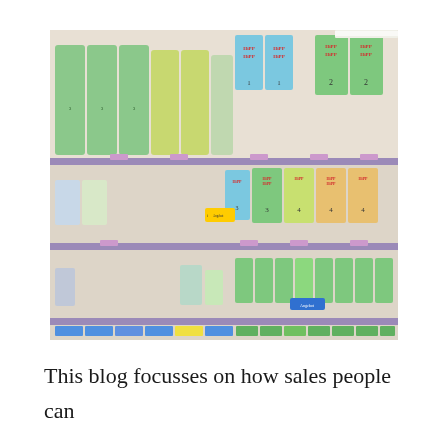[Figure (photo): Supermarket shelves partially stocked with baby formula products including HiPP brand boxes and other infant formula cans. Several shelves are notably empty or sparse, illustrating an out-of-stock situation. Baby formula cans and boxes labeled with HiPP branding (stages 1-4) and other brands (Aptamil-style) line the right portion of the shelves while the left sections are mostly bare.]
This blog focusses on how sales people can reduce out of stocks at supermarkets by